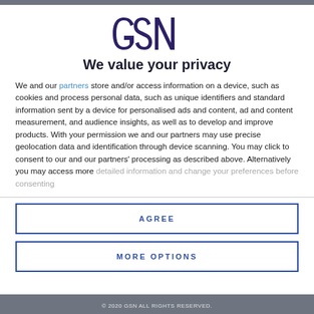[Figure (logo): GSN logo in dark navy/purple stylized lettering]
We value your privacy
We and our partners store and/or access information on a device, such as cookies and process personal data, such as unique identifiers and standard information sent by a device for personalised ads and content, ad and content measurement, and audience insights, as well as to develop and improve products. With your permission we and our partners may use precise geolocation data and identification through device scanning. You may click to consent to our and our partners' processing as described above. Alternatively you may access more detailed information and change your preferences before consenting
AGREE
MORE OPTIONS
© 2020 GSN ALL RIGHTS RESERVED.